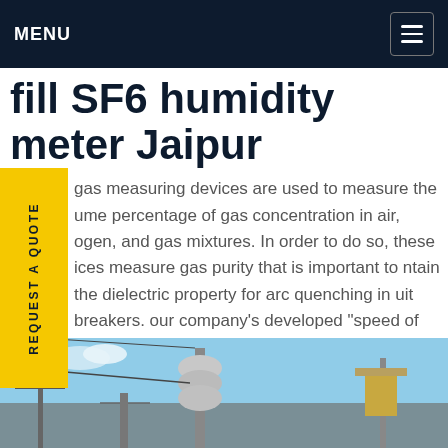MENU
fill SF6 humidity meter Jaipur
gas measuring devices are used to measure the ume percentage of gas concentration in air, ogen, and gas mixtures. In order to do so, these ices measure gas purity that is important to ntain the dielectric property for arc quenching in uit breakers. our company's developed "speed of nd" technologies have maintained providing nediate results for accurate measurements.Get e
[Figure (photo): Power substation with high-voltage equipment, insulators, and transmission line structures against a blue sky]